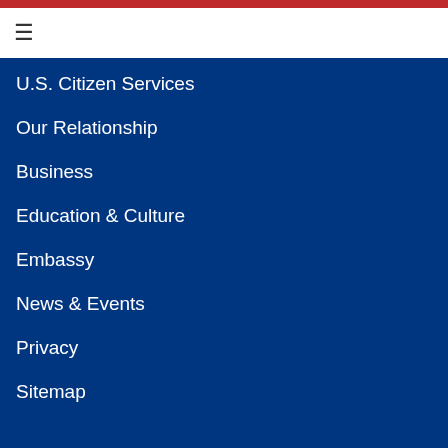U.S. Citizen Services
Our Relationship
Business
Education & Culture
Embassy
News & Events
Privacy
Sitemap
U.S. EMBASSY
U.S. Embassy Tbilisi
29 Georgian-American Friendship Avenue
Didi Dighomi...